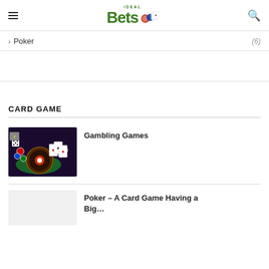[Figure (logo): IdealBets logo — bold green 'Bets' text with playing cards and chips icon]
> Poker (6)
CARD GAME
[Figure (photo): Gambling games scene with roulette wheel, playing cards, casino chips on a green table]
Gambling Games
[Figure (photo): Placeholder thumbnail for poker article]
Poker – A Card Game Having a Big…